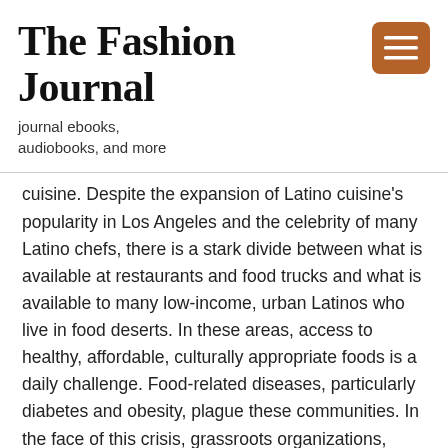The Fashion Journal
journal ebooks, audiobooks, and more
cuisine. Despite the expansion of Latino cuisine's popularity in Los Angeles and the celebrity of many Latino chefs, there is a stark divide between what is available at restaurants and food trucks and what is available to many low-income, urban Latinos who live in food deserts. In these areas, access to healthy, affordable, culturally appropriate foods is a daily challenge. Food-related diseases, particularly diabetes and obesity, plague these communities. In the face of this crisis, grassroots organizations, policy-makers and local residents are working to improve access and affordability through a